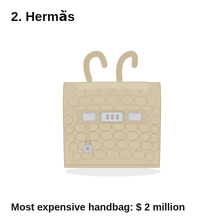2. Hermès
[Figure (photo): A luxury Hermès Birkin handbag made of pale beige/cream Himalayan crocodile leather with silver hardware, photographed on a white background. The bag has two top handles and a signature front closure with padlock charm.]
Most expensive handbag: $ 2 million